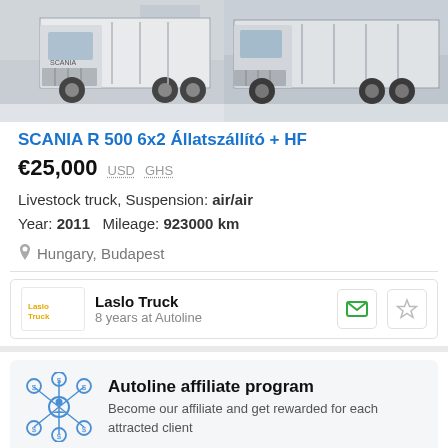[Figure (photo): Two photos of a white Scania R 500 6x2 livestock truck, shown from the front-left angle. Left photo shows the truck with a building in the background; right photo shows a similar angle in winter.]
SCANIA R 500 6x2 Állatszállító + HF
€25,000  USD  GHS
Livestock truck, Suspension: air/air
Year: 2011   Mileage: 923000 km
Hungary, Budapest
Laslo Truck
8 years at Autoline
Autoline affiliate program
Become our affiliate and get rewarded for each attracted client